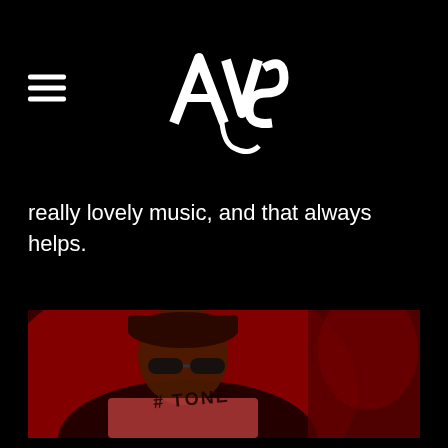AVS (logo)
really lovely music, and that always helps.
[Figure (photo): Man wearing a white t-shirt with 'TONE' text and sunglasses, sitting in a vehicle, illuminated by red light. He wears a backwards cap and a watch.]